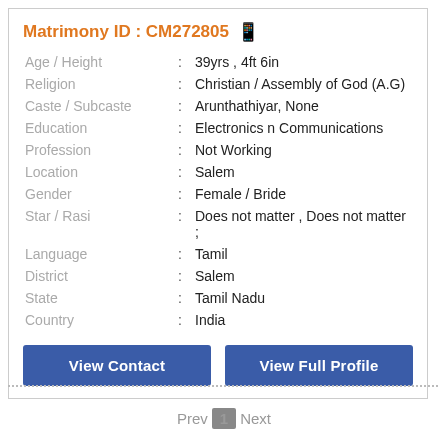Matrimony ID : CM272805
| Field | : | Value |
| --- | --- | --- |
| Age / Height | : | 39yrs , 4ft 6in |
| Religion | : | Christian / Assembly of God (A.G) |
| Caste / Subcaste | : | Arunthathiyar, None |
| Education | : | Electronics n Communications |
| Profession | : | Not Working |
| Location | : | Salem |
| Gender | : | Female / Bride |
| Star / Rasi | : | Does not matter , Does not matter ; |
| Language | : | Tamil |
| District | : | Salem |
| State | : | Tamil Nadu |
| Country | : | India |
View Contact
View Full Profile
Prev 1 Next